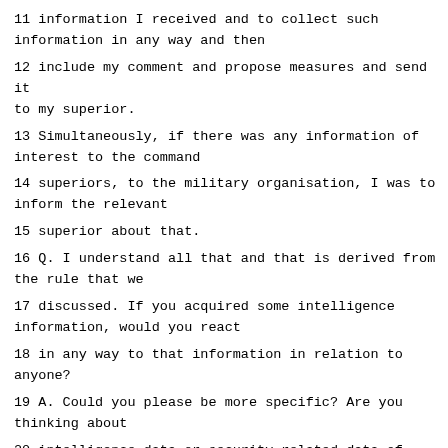11 information I received and to collect such information in any way and then
12 include my comment and propose measures and send it to my superior.
13 Simultaneously, if there was any information of interest to the command
14 superiors, to the military organisation, I was to inform the relevant
15 superior about that.
16 Q. I understand all that and that is derived from the rule that we
17 discussed. If you acquired some intelligence information, would you react
18 in any way to that information in relation to anyone?
19 A. Could you please be more specific? Are you thinking about
20 intelligence data or security-related data of interest? If it's an
21 intelligence information, then I would forward it to the intelligence